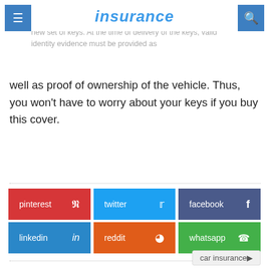insurance
If your vehicle is disabled as a result of broken, lost or misplaced keys, Sheram General Insurance insurance t a new set of keys. At the time of delivery of the keys, valid identity evidence must be provided as well as proof of ownership of the vehicle. Thus, you won't have to worry about your keys if you buy this cover.
pinterest  twitter  facebook  linkedin  reddit  whatsapp
Next article
…reasons why your car's insurance premiums increase every year 5
Previous article
… to prevent the rejection of the auto insurance claim accreditation
car insurance